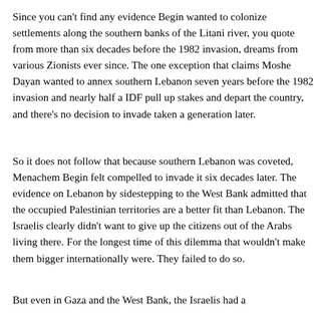Since you can't find any evidence Begin wanted to colonize settlements along the southern banks of the Litani river, you quote from more than six decades before the 1982 invasion, dreams from various Zionists ever since. The one exception that claims Moshe Dayan wanted to annex southern Lebanon seven years before the 1982 invasion and nearly half a IDF pull up stakes and depart the country, and there's no decision to invade taken a generation later.
So it does not follow that because southern Lebanon was coveted, Menachem Begin felt compelled to invade it six decades later. The evidence on Lebanon by sidestepping to the West Bank admitted that the occupied Palestinian territories are a better fit than Lebanon. The Israelis clearly didn't want to give up the citizens out of the Arabs living there. For the longest time of this dilemma that wouldn't make them bigger internationally were. They failed to do so.
But even in Gaza and the West Bank, the Israelis had...